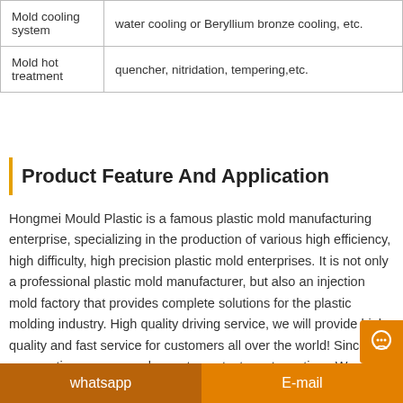| Specification | Depends on customer's requirements |
| --- | --- |
| Mold cooling system | water cooling or Beryllium bronze cooling, etc. |
| Mold hot treatment | quencher, nitridation, tempering,etc. |
Product Feature And Application
Hongmei Mould Plastic is a famous plastic mold manufacturing enterprise, specializing in the production of various high efficiency, high difficulty, high precision plastic mold enterprises. It is not only a professional plastic mold manufacturer, but also an injection mold factory that provides complete solutions for the plastic molding industry. High quality driving service, we will provide high quality and fast service for customers all over the world! Sincere cooperation, you are welcome to contact us at any time. We
whatsapp   E-mail